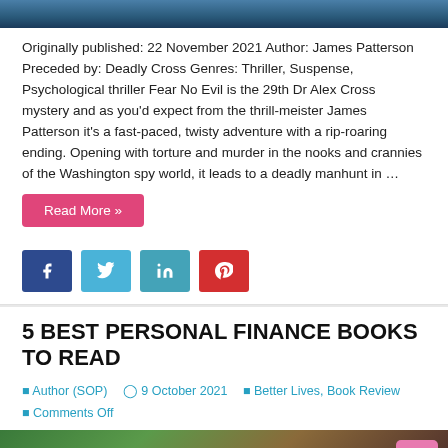[Figure (photo): Top portion of a dark blue book cover image, cropped.]
Originally published: 22 November 2021 Author: James Patterson Preceded by: Deadly Cross Genres: Thriller, Suspense, Psychological thriller Fear No Evil is the 29th Dr Alex Cross mystery and as you'd expect from the thrill-meister James Patterson it's a fast-paced, twisty adventure with a rip-roaring ending. Opening with torture and murder in the nooks and crannies of the Washington spy world, it leads to a deadly manhunt in …
Read More »
[Figure (infographic): Social media share buttons: Facebook (blue), Twitter (light blue), LinkedIn (teal), Pinterest (red)]
5 BEST PERSONAL FINANCE BOOKS TO READ
Author (SOP)  9 October 2021  Better Lives, Book Review  Comments Off
[Figure (photo): Bottom portion of a book cover image with green, brown, and dark tones, partially visible.]